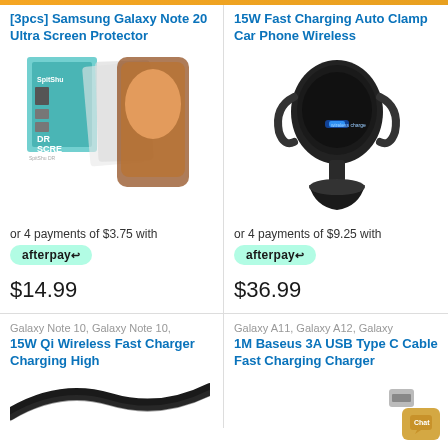[3pcs] Samsung Galaxy Note 20 Ultra Screen Protector
[Figure (photo): Product photo of Samsung Galaxy Note 20 Ultra screen protector packaging with DR SCREEN branding and phone screen protector films]
or 4 payments of $3.75 with afterpay
$14.99
15W Fast Charging Auto Clamp Car Phone Wireless
[Figure (photo): Product photo of a black 15W wireless fast charging auto clamp car phone mount with blue LED indicator]
or 4 payments of $9.25 with afterpay
$36.99
Galaxy Note 10, Galaxy Note 10,
15W Qi Wireless Fast Charger Charging High
[Figure (photo): Partial product photo of 15W Qi wireless fast charger]
Galaxy A11, Galaxy A12, Galaxy
1M Baseus 3A USB Type C Cable Fast Charging Charger